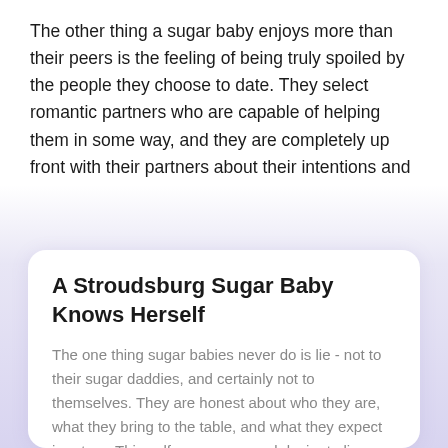The other thing a sugar baby enjoys more than their peers is the feeling of being truly spoiled by the people they choose to date. They select romantic partners who are capable of helping them in some way, and they are completely up front with their partners about their intentions and expectations. Their relationships are, therefore, fair and rewarding for everyone involved, but also… they're a lot of fun!
A Stroudsburg Sugar Baby Knows Herself
The one thing sugar babies never do is lie - not to their sugar daddies, and certainly not to themselves. They are honest about who they are, what they bring to the table, and what they expect in return. This self-awareness and desire to live